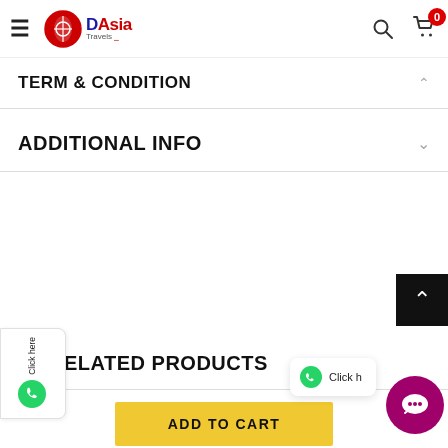DAsia Travels
TERM & CONDITION
ADDITIONAL INFO
RELATED PRODUCTS
ADD TO CART